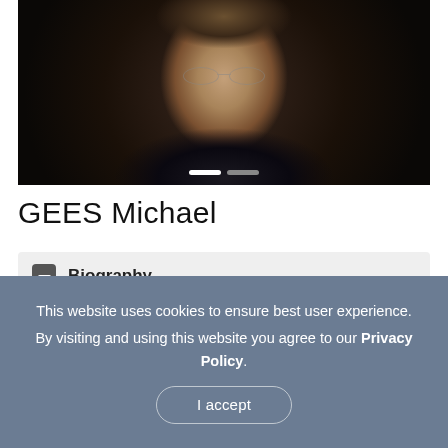[Figure (photo): Close-up portrait of Michael Gees, a middle-aged man with wire-rimmed round glasses, disheveled light hair, and a goatee, against a dark background]
GEES Michael
Biography
Michael Gees' biography is somewhat unusual: Who can say about
This website uses cookies to ensure best user experience. By visiting and using this website you agree to our Privacy Policy. I accept